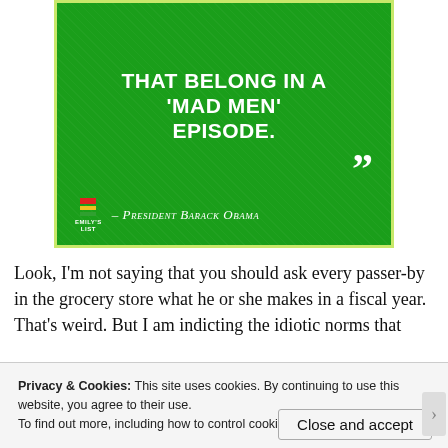[Figure (infographic): Green quote card with white text on green background with Emily's List logo, reading 'Workplace Policies That Belong In A Mad Men Episode.' attributed to President Barack Obama]
Look, I'm not saying that you should ask every passer-by in the grocery store what he or she makes in a fiscal year. That's weird. But I am indicting the idiotic norms that
Privacy & Cookies: This site uses cookies. By continuing to use this website, you agree to their use.
To find out more, including how to control cookies, see here: Cookie Policy
Close and accept